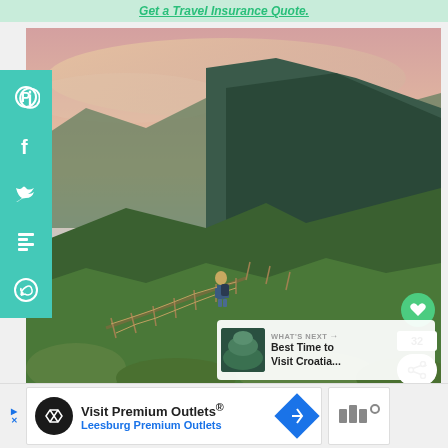Get a Travel Insurance Quote.
[Figure (photo): A hiker standing on a mountain ridge with fenced path, overlooking a green valley and coastal town, dramatic sky at sunset]
[Figure (screenshot): What's Next overlay with thumbnail: Best Time to Visit Croatia...]
[Figure (other): Advertisement: Visit Premium Outlets® Leesburg Premium Outlets]